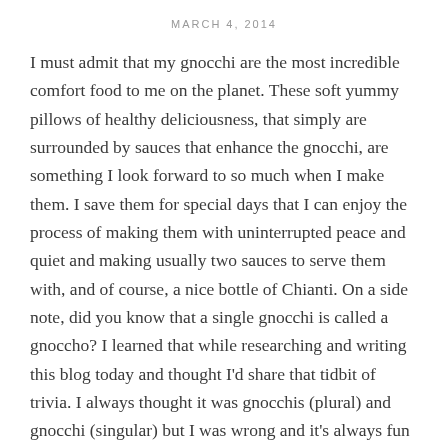MARCH 4, 2014
I must admit that my gnocchi are the most incredible comfort food to me on the planet. These soft yummy pillows of healthy deliciousness, that simply are surrounded by sauces that enhance the gnocchi, are something I look forward to so much when I make them. I save them for special days that I can enjoy the process of making them with uninterrupted peace and quiet and making usually two sauces to serve them with, and of course, a nice bottle of Chianti. On a side note, did you know that a single gnocchi is called a gnoccho? I learned that while researching and writing this blog today and thought I'd share that tidbit of trivia. I always thought it was gnocchis (plural) and gnocchi (singular) but I was wrong and it's always fun to learn a new word. For this recipe, I'm giving you the easy addition of sweet...